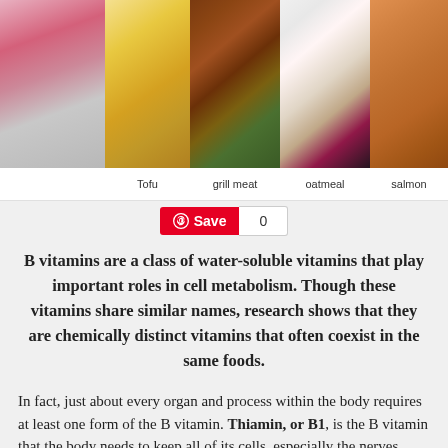[Figure (photo): Collage of food images: pregnant woman, tofu/cheese, grilled meat, oatmeal with berries, salmon fillet]
Tofu    grill meat    oatmeal    salmon
[Figure (infographic): Pinterest Save button with count 0]
B vitamins are a class of water-soluble vitamins that play important roles in cell metabolism. Though these vitamins share similar names, research shows that they are chemically distinct vitamins that often coexist in the same foods.
In fact, just about every organ and process within the body requires at least one form of the B vitamin. Thiamin, or B1, is the B vitamin that the body needs to keep all of its cells, especially the nerves, functioning correctly. It is especially important for memory and general mental health and is one of the B vitamins that is required to convert food into energy.